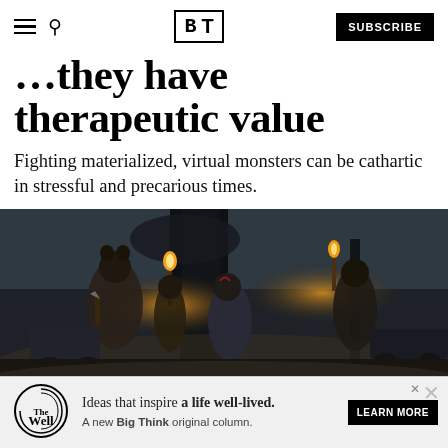BT | SUBSCRIBE
they have therapeutic value
Fighting materialized, virtual monsters can be cathartic in stressful and precarious times.
[Figure (screenshot): Dark atmospheric video game scene showing characters with torches in a foggy forest, from what appears to be The Last of Us Part II]
Ideas that inspire a life well-lived. A new Big Think original column. Learn More